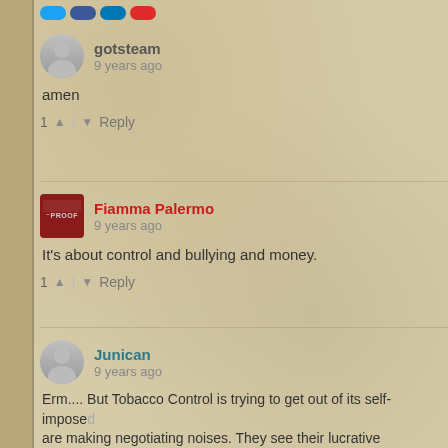gotsteam · 9 years ago
amen
1 ▲ | ▼ Reply
Fiamma Palermo · 9 years ago
It's about control and bullying and money.
1 ▲ | ▼ Reply
Junican · 9 years ago
Erm.... But Tobacco Control is trying to get out of its self-imposed... are making negotiating noises. They see their lucrative moveme... and need to jump on the bandwagon of ecigs. That may be why... Bates to defend ecigs.
What is the EUSSR going to do now? It has already nailed its c... could imagine a quick about turn, and a proposed regulation tha... provided that they do not look like cigarettes (or pipes or cigars...